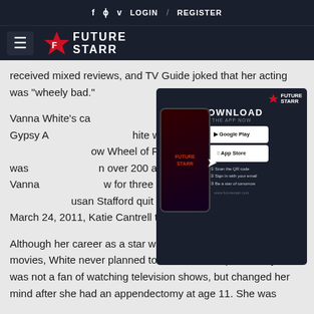f  •  v  LOGIN / REGISTER — FutureStarr nav
[Figure (screenshot): FutureStarr app download advertisement showing a smartphone mockup, Google Play and App Store buttons, QR code, and download instructions on a dark navy background.]
received mixed reviews, and TV Guide joked that her acting was "wheely bad."
Vanna White's career appeared in movies such as Gypsy Angels. White was chosen for the role of co-host on the show Wheel of Fortune. She was chosen over 200 applicants. Vanna hosted the show for three seasons, until the host Susan Stafford quit the role. In Rounds 2 and 3 on March 24, 2011, Katie Cantrell took her place.
Although her career as a star was influenced by television and movies, White never planned to become a TV personality. She was not a fan of watching television shows, but changed her mind after she had an appendectomy at age 11. She was